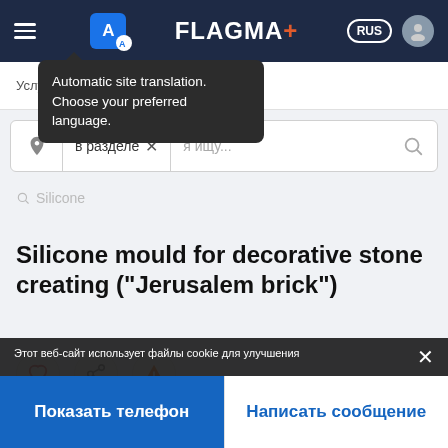FLAGMA+ — RUS — navigation header
Automatic site translation. Choose your preferred language.
Услуги > Производственные услуги >
в разделе × | я ищу...
Silicone mould for decorative stone creating ("Jerusalem brick")
Этот веб-сайт использует файлы cookie для улучшения
Показать телефон
Написать сообщение